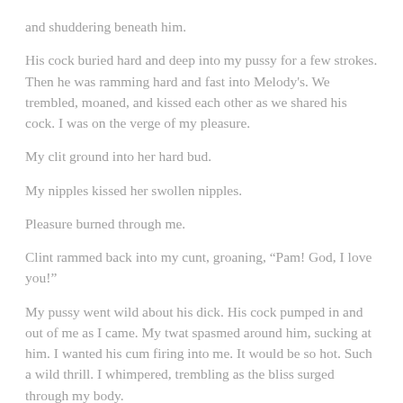and shuddering beneath him.
His cock buried hard and deep into my pussy for a few strokes. Then he was ramming hard and fast into Melody's. We trembled, moaned, and kissed each other as we shared his cock. I was on the verge of my pleasure.
My clit ground into her hard bud.
My nipples kissed her swollen nipples.
Pleasure burned through me.
Clint rammed back into my cunt, groaning, “Pam! God, I love you!”
My pussy went wild about his dick. His cock pumped in and out of me as I came. My twat spasmed around him, sucking at him. I wanted his cum firing into me. It would be so hot. Such a wild thrill. I whimpered, trembling as the bliss surged through my body.